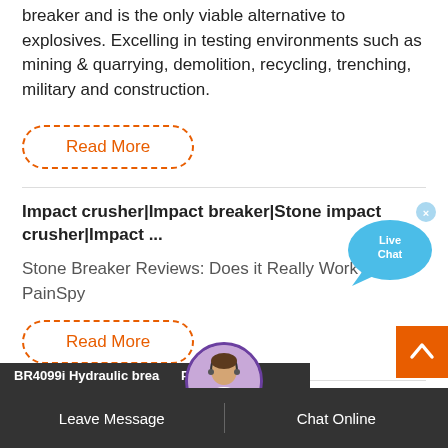breaker and is the only viable alternative to explosives. Excelling in testing environments such as mining & quarrying, demolition, recycling, trenching, military and construction.
Read More
Impact crusher|Impact breaker|Stone impact crusher|Impact ...
Stone Breaker Reviews: Does it Really Work? – PainSpy
Read More
BR4099i Hydraulic breaker P
Leave Message
Chat Online